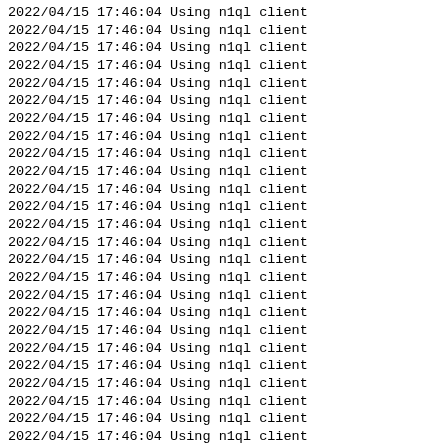2022/04/15 17:46:04 Using n1ql client
2022/04/15 17:46:04 Using n1ql client
2022/04/15 17:46:04 Using n1ql client
2022/04/15 17:46:04 Using n1ql client
2022/04/15 17:46:04 Using n1ql client
2022/04/15 17:46:04 Using n1ql client
2022/04/15 17:46:04 Using n1ql client
2022/04/15 17:46:04 Using n1ql client
2022/04/15 17:46:04 Using n1ql client
2022/04/15 17:46:04 Using n1ql client
2022/04/15 17:46:04 Using n1ql client
2022/04/15 17:46:04 Using n1ql client
2022/04/15 17:46:04 Using n1ql client
2022/04/15 17:46:04 Using n1ql client
2022/04/15 17:46:04 Using n1ql client
2022/04/15 17:46:04 Using n1ql client
2022/04/15 17:46:04 Using n1ql client
2022/04/15 17:46:04 Using n1ql client
2022/04/15 17:46:04 Using n1ql client
2022/04/15 17:46:04 Using n1ql client
2022/04/15 17:46:04 Using n1ql client
2022/04/15 17:46:04 Using n1ql client
2022/04/15 17:46:04 Using n1ql client
2022/04/15 17:46:04 Using n1ql client
2022/04/15 17:46:04 Using n1ql client
2022/04/15 17:46:04 Using n1ql client
2022/04/15 17:46:04 Using n1ql client
2022/04/15 17:46:04 Using n1ql client
2022/04/15 17:46:04 Using n1ql client
2022/04/15 17:46:04 Using n1ql client
2022/04/15 17:46:04 Using n1ql client